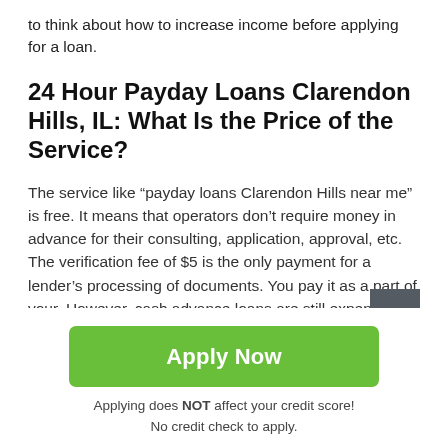to think about how to increase income before applying for a loan.
24 Hour Payday Loans Clarendon Hills, IL: What Is the Price of the Service?
The service like “payday loans Clarendon Hills near me” is free. It means that operators don’t require money in advance for their consulting, application, approval, etc. The verification fee of $5 is the only payment for a lender’s processing of documents. You pay it as a part of your. However, cash advance loans are still expensive because of the high interest rates. So, how much does a loan cost?
Apply Now
Applying does NOT affect your credit score!
No credit check to apply.